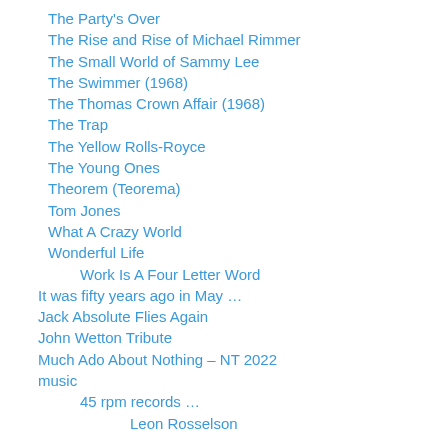The Party's Over
The Rise and Rise of Michael Rimmer
The Small World of Sammy Lee
The Swimmer (1968)
The Thomas Crown Affair (1968)
The Trap
The Yellow Rolls-Royce
The Young Ones
Theorem (Teorema)
Tom Jones
What A Crazy World
Wonderful Life
Work Is A Four Letter Word
It was fifty years ago in May …
Jack Absolute Flies Again
John Wetton Tribute
Much Ado About Nothing – NT 2022
music
45 rpm records …
Leon Rosselson